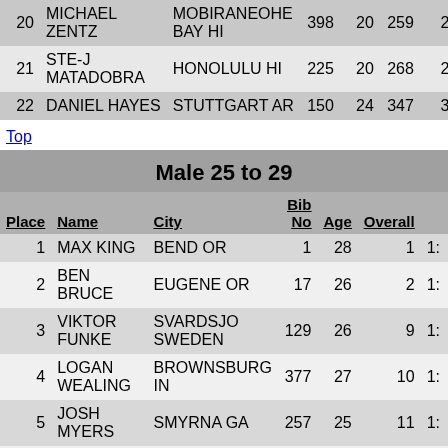| Place | Name | City | Bib No | Age | Overall |  |
| --- | --- | --- | --- | --- | --- | --- |
| 20 | MICHAEL ZENTZ | MOBIRANEOHE BAY HI | 398 | 20 | 259 | 2: |
| 21 | STE-J MATADOBRA | HONOLULU HI | 225 | 20 | 268 | 2: |
| 22 | DANIEL HAYES | STUTTGART AR | 150 | 24 | 347 | 3: |
Top
Male 25 to 29
| Place | Name | City | Bib No | Age | Overall |  |
| --- | --- | --- | --- | --- | --- | --- |
| 1 | MAX KING | BEND OR | 1 | 28 | 1 | 1: |
| 2 | BEN BRUCE | EUGENE OR | 17 | 26 | 2 | 1: |
| 3 | VIKTOR FUNKE | SVARDSJO SWEDEN | 129 | 26 | 9 | 1: |
| 4 | LOGAN WEALING | BROWNSBURG IN | 377 | 27 | 10 | 1: |
| 5 | JOSH MYERS | SMYRNA GA | 257 | 25 | 11 | 1: |
| 6 | CHAD SEYMOUR | HONOLULU HI | 323 | 26 | 14 | 1: |
| 7 | ANDREW TAYLOR | KANEOHE HI | 351 | 29 | 17 | 1: |
| 8 | ZIMRAN LUCERO | HONOLULU HI | 215 | 25 | 19 | 1: |